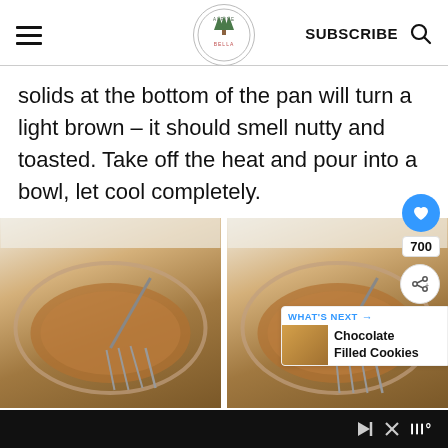SUBSCRIBE
solids at the bottom of the pan will turn a light brown – it should smell nutty and toasted. Take off the heat and pour into a bowl, let cool completely.
[Figure (photo): Two side-by-side photos of a glass bowl with brown butter mixture being whisked, with UI overlays including heart button (700), share button, and a 'What's Next' card showing Chocolate Filled Cookies]
[Figure (other): Ad bar at the bottom with skip controls and weather icon]